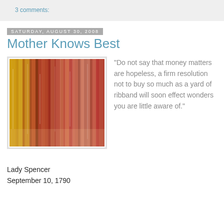3 comments:
Saturday, August 30, 2008
Mother Knows Best
[Figure (photo): Blurred motion photograph of hanging ribbons or fabric streamers in warm gold, red, and pink tones]
"Do not say that money matters are hopeless, a firm resolution not to buy so much as a yard of ribband will soon effect wonders you are little aware of."
Lady Spencer
September 10, 1790